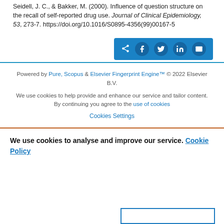Seidell, J. C., & Bakker, M. (2000). Influence of question structure on the recall of self-reported drug use. Journal of Clinical Epidemiology, 53, 273-7. https://doi.org/10.1016/S0895-4356(99)00167-5
[Figure (other): Social share bar with icons for share, Facebook, Twitter, LinkedIn, and email on a blue background]
Powered by Pure, Scopus & Elsevier Fingerprint Engine™ © 2022 Elsevier B.V.
We use cookies to help provide and enhance our service and tailor content. By continuing you agree to the use of cookies
Cookies Settings
We use cookies to analyse and improve our service. Cookie Policy